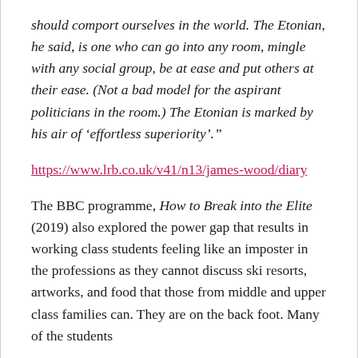should comport ourselves in the world. The Etonian, he said, is one who can go into any room, mingle with any social group, be at ease and put others at their ease. (Not a bad model for the aspirant politicians in the room.) The Etonian is marked by his air of 'effortless superiority'."
https://www.lrb.co.uk/v41/n13/james-wood/diary
The BBC programme, How to Break into the Elite (2019) also explored the power gap that results in working class students feeling like an imposter in the professions as they cannot discuss ski resorts, artworks, and food that those from middle and upper class families can. They are on the back foot. Many of the students